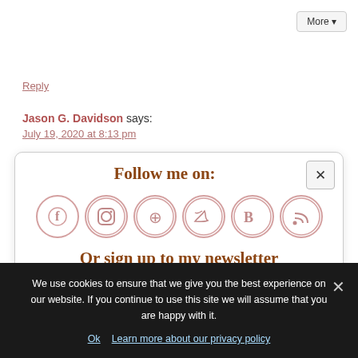Reply
Jason G. Davidson says: July 19, 2020 at 8:13 pm
I have found your article very informative and interesting. I appreciate your points of view and I
Follow me on:
[Figure (infographic): Social media follow icons: Facebook, Instagram, Pinterest, Twitter, Bloglovin, RSS]
Or sign up to my newsletter
We use cookies to ensure that we give you the best experience on our website. If you continue to use this site we will assume that you are happy with it.
Ok   Learn more about our privacy policy